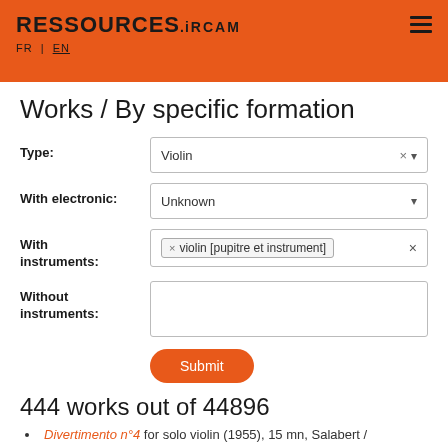RESSOURCES.IRCAM FR | EN
Works / By specific formation
Type: Violin
With electronic: Unknown
With instruments: × violin [pupitre et instrument] ×
Without instruments:
Submit
444 works out of 44896
Divertimento n°4 for solo violin (1955), 15 mn, Salabert /